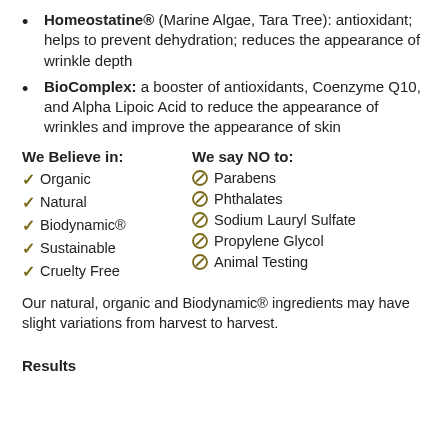Homeostatine® (Marine Algae, Tara Tree): antioxidant; helps to prevent dehydration; reduces the appearance of wrinkle depth
BioComplex: a booster of antioxidants, Coenzyme Q10, and Alpha Lipoic Acid to reduce the appearance of wrinkles and improve the appearance of skin
We Believe in: ✓ Organic ✓ Natural ✓ Biodynamic® ✓ Sustainable ✓ Cruelty Free | We say NO to: ⊘ Parabens ⊘ Phthalates ⊘ Sodium Lauryl Sulfate ⊘ Propylene Glycol ⊘ Animal Testing
Our natural, organic and Biodynamic® ingredients may have slight variations from harvest to harvest.
Results